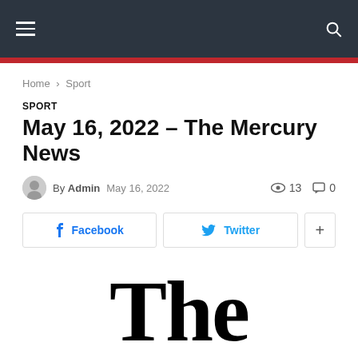Navigation header with hamburger menu and search icon
Home › Sport
SPORT
May 16, 2022 – The Mercury News
By Admin   May 16, 2022   👁 13   💬 0
Facebook   Twitter   +
[Figure (logo): The Mercury News masthead logo in Old English blackletter font showing 'The']